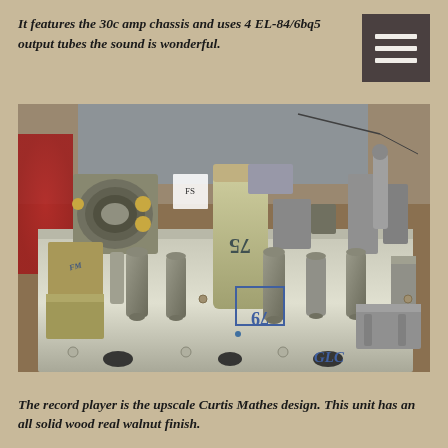It features the 30c amp chassis and uses 4 EL-84/6bq5 output tubes the sound is wonderful.
[Figure (photo): Top-down view of a vintage vacuum tube amplifier chassis (30c amp) showing multiple EL-84/6bq5 output tubes, transformers, capacitors, and wiring on a metal chassis. Labels '75' and '79' visible on components.]
The record player is the upscale Curtis Mathes design. This unit has an all solid wood real walnut finish.